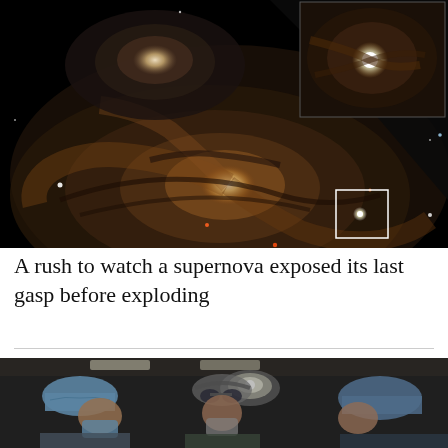[Figure (photo): Hubble Space Telescope image of a spiral galaxy merger showing interacting galaxies against a black space background. A white square highlight box marks a region on the lower galaxy where a supernova appears. An inset image in the upper right corner shows a zoomed-in view of the highlighted region with a bright point of light (the supernova).]
A rush to watch a supernova exposed its last gasp before exploding
[Figure (photo): Photograph of medical professionals wearing surgical caps and masks in an operating room, viewed from behind/side, with surgical lights visible overhead.]